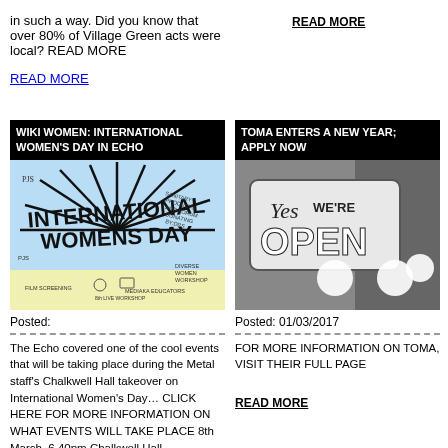in such a way. Did you know that over 80% of Village Green acts were local? READ MORE
READ MORE
READ MORE
WIKI WOMEN: INTERNATIONAL WOMEN'S DAY IN ECHO
[Figure (illustration): International Women's Day illustrated poster with text and doodles of various women-related activities]
Posted:
The Echo covered one of the cool events that will be taking place during the Metal staff's Chalkwell Hall takeover on International Women's Day… CLICK HERE FOR MORE INFORMATION ON WHAT EVENTS WILL TAKE PLACE 8th March, 6.40pm Chalkwell Hall
TOMA ENTERS A NEW YEAR; APPLY NOW
[Figure (photo): Black and white photo of a shop window sign saying Yes We're Open]
Posted: 01/03/2017
FOR MORE INFORMATION ON TOMA, VISIT THEIR FULL PAGE
READ MORE